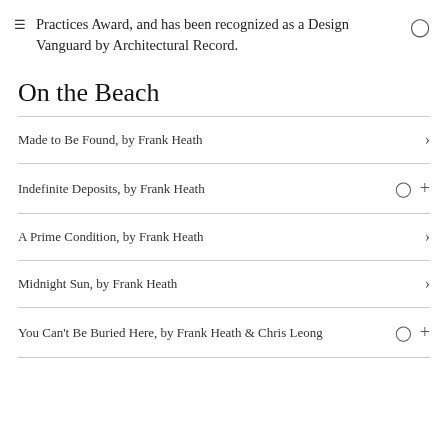Practices Award, and has been recognized as a Design Vanguard by Architectural Record.
On the Beach
Made to Be Found, by Frank Heath
Indefinite Deposits, by Frank Heath
A Prime Condition, by Frank Heath
Midnight Sun, by Frank Heath
You Can't Be Buried Here, by Frank Heath & Chris Leong